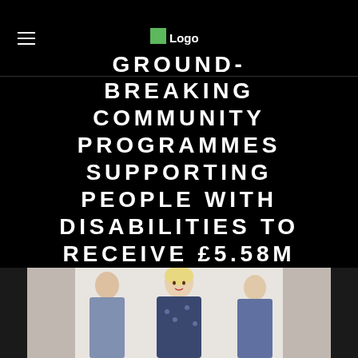Logo
GROUND-BREAKING COMMUNITY PROGRAMMES SUPPORTING PEOPLE WITH DISABILITIES TO RECEIVE £5.58M FUNDING BOOST
[Figure (photo): A photograph of a woman with short blonde hair wearing a patterned dress, likely at a formal event.]